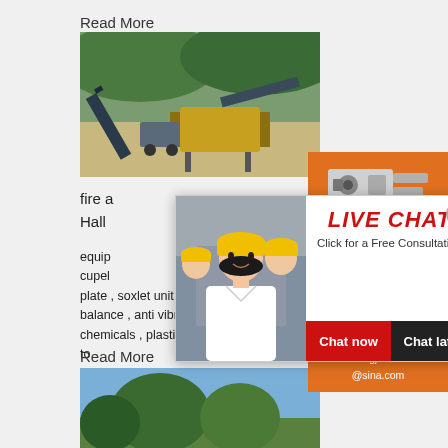Read More
[Figure (photo): Mining/screening equipment at an outdoor site with conveyors and hoppers, hills in background]
fire a
Hall
equip... cupel... plate , soxlet unit , hot air oven , redox meter, balance , anti vibration table , lab glass wares chemicals , plastic wares and many more. We used to provide many of them and work with ...
[Figure (photo): Live Chat popup overlay with workers in hard hats, LIVE CHAT heading, Click for a Free Consultation, Chat now / Chat later buttons]
[Figure (photo): Orange sidebar panel with crusher/mining machinery images, Enjoy 3% discount, Click to Chat, Enquiry, limingjlmofen@sina.com]
Read More
[Figure (photo): Outdoor scene with trees and blue sky, bottom of page]